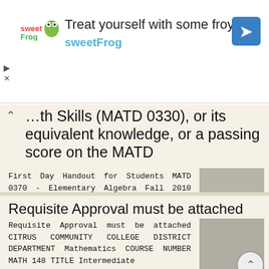[Figure (infographic): Advertisement banner for sweetFrog frozen yogurt. Shows sweetFrog logo, headline 'Treat yourself with some froyo', subtext 'sweetFrog', and a navigation/map icon on the right. Play and close controls on bottom left.]
...th Skills (MATD 0330), or its equivalent knowledge, or a passing score on the MATD
First Day Handout for Students MATD 0370 - Elementary Algebra Fall 2010 Semester, 16 Weeks Session, Section 035, Synonym 18542 Northridge Campus Room 2240, TTh 7:20 a.m. - 9:05 a.m. Instructor: John Thomason
More information →
Requisite Approval must be attached
Requisite Approval must be attached CITRUS COMMUNITY COLLEGE DISTRICT DEPARTMENT Mathematics COURSE NUMBER MATH 148 TITLE Intermediate